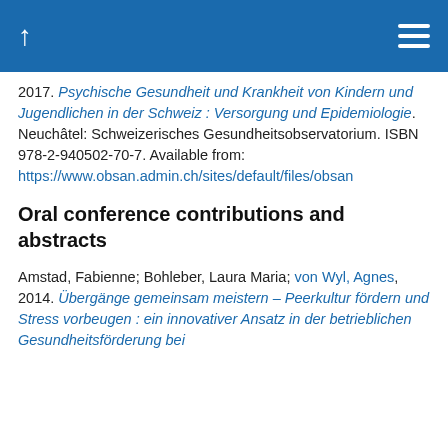↑ ☰
2017. Psychische Gesundheit und Krankheit von Kindern und Jugendlichen in der Schweiz : Versorgung und Epidemiologie. Neuchâtel: Schweizerisches Gesundheitsobservatorium. ISBN 978-2-940502-70-7. Available from: https://www.obsan.admin.ch/sites/default/files/obsan
Oral conference contributions and abstracts
Amstad, Fabienne; Bohleber, Laura Maria; von Wyl, Agnes, 2014. Übergänge gemeinsam meistern – Peerkultur fördern und Stress vorbeugen : ein innovativer Ansatz in der betrieblichen Gesundheitsförderung bei